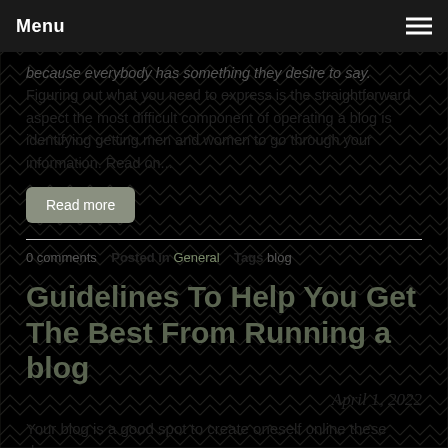Menu
because everybody has something they desire to say. Figuring out what you need to express is the straightforward aspect the most difficult component of operating a blog is identifying getting men and women to go through your information. Read on...
Read more
0 comments   Posted in General   Tags blog
Guidelines To Help You Get The Best From Running a blog
April 1, 2022
Your blog is a good spot to create oneself online these days